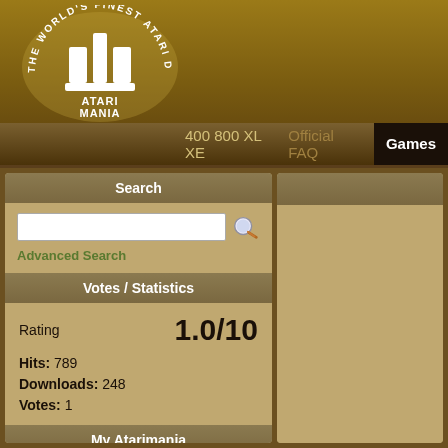[Figure (logo): Atari Mania logo with circular text 'THE WORLD'S FINEST ATARI DATABASE' and Atari fuji symbol, white on brown/tan background]
400 800 XL XE | Official FAQ | Games
Search
Advanced Search
Votes / Statistics
Rating 1.0/10
Hits: 789
Downloads: 248
Votes: 1
My Atarimania